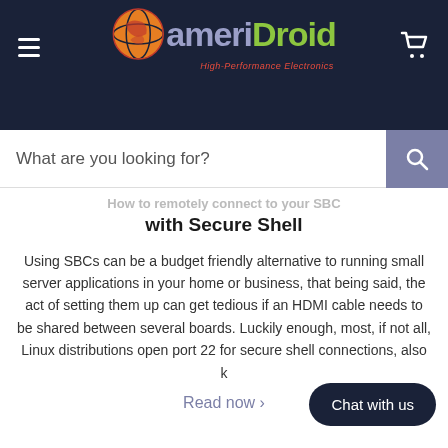[Figure (logo): AmeriDroid logo with orange globe icon, purple 'ameri' and green 'Droid' text, tagline 'High-Performance Electronics']
What are you looking for?
How to remotely connect to your SBC with Secure Shell
Using SBCs can be a budget friendly alternative to running small server applications in your home or business, that being said, the act of setting them up can get tedious if an HDMI cable needs to be shared between several boards. Luckily enough, most, if not all, Linux distributions open port 22 for secure shell connections, also k
Read now >